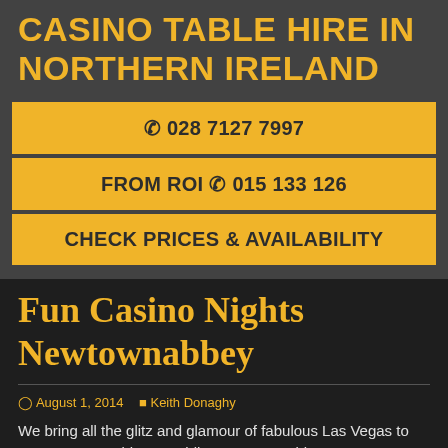CASINO TABLE HIRE IN NORTHERN IRELAND
☎ 028 7127 7997
FROM ROI ☎ 015 133 126
CHECK PRICES & AVAILABILITY
Fun Casino Nights Newtownabbey
August 1, 2014   Keith Donaghy
We bring all the glitz and glamour of fabulous Las Vegas to your Newtownabbey Wedding, Newtownabbey Party or Event in Wexford with our fully working, fully FABULOUS Fun Casino!
A Fun Casino Night is the perfect form of entertainment which